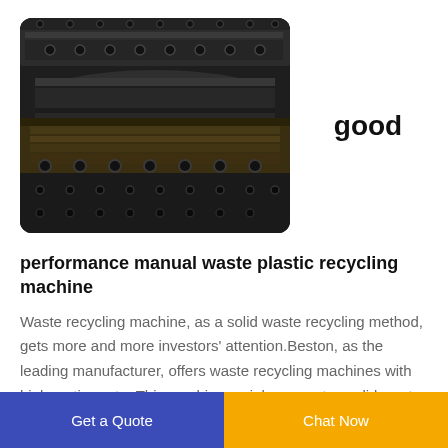[Figure (photo): Close-up photograph of industrial waste recycling machine parts showing metal rollers, bolts, and mechanical components with dark, worn surfaces]
good
performance manual waste plastic recycling machine
Waste recycling machine, as a solid waste recycling method, gets more and more investors' attention.Beston, as the leading manufacturer, offers waste recycling machines with high sorting rate. This machine mainly separates solid waste into different
Get a Quote | Chat Now